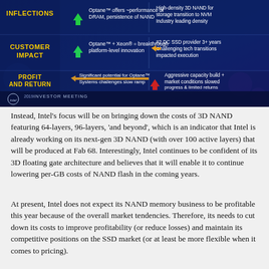[Figure (infographic): Intel investor meeting infographic showing three rows: INFLECTIONS (Optane offers ~performance of DRAM, persistence of NAND | High-density 3D NAND for storage transition to NVM Industry leading density), CUSTOMER IMPACT (Optane + Xeon = breakthrough platform-level innovation | #2 DC SSD provider 3+ years Challenging tech transitions impacted execution), PROFIT AND RETURN (Significant potential for Optane Systems challenges slow ramp | Aggressive capacity build + market conditions slowed progress & limited returns). Intel and 2019 Investor Meeting logo at bottom.]
Instead, Intel's focus will be on bringing down the costs of 3D NAND featuring 64-layers, 96-layers, 'and beyond', which is an indicator that Intel is already working on its next-gen 3D NAND (with over 100 active layers) that will be produced at Fab 68. Interestingly, Intel continues to be confident of its 3D floating gate architecture and believes that it will enable it to continue lowering per-GB costs of NAND flash in the coming years.
At present, Intel does not expect its NAND memory business to be profitable this year because of the overall market tendencies. Therefore, its needs to cut down its costs to improve profitability (or reduce losses) and maintain its competitive positions on the SSD market (or at least be more flexible when it comes to pricing).